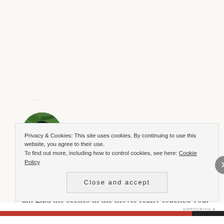· · · · · ·
[Figure (photo): Circular avatar photo of Resh Susan surrounded by tropical green palm leaves]
Resh Susan @ The Book Satchel
OCTOBER 16, 2018 AT 2:58 AM
I know the book is really good but I haven't read it yet. I am definitely planning to watch the movie. I am glad the scenes in the movie really touched you.
Privacy & Cookies: This site uses cookies. By continuing to use this website, you agree to their use.
To find out more, including how to control cookies, see here: Cookie Policy
Close and accept